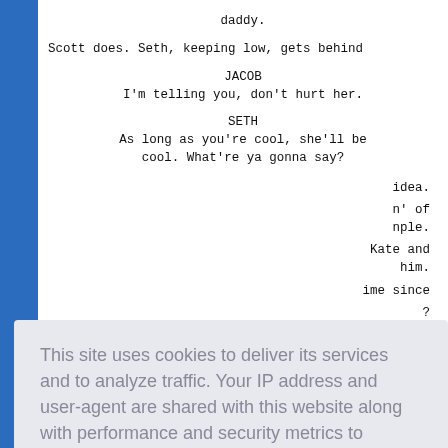daddy.
Scott does. Seth, keeping low, gets behind
JACOB
I'm telling you, don't hurt her.
SETH
As long as you're cool, she'll be cool. What're ya gonna say?
idea.
n' of
nple.
Kate and
him.
ime since
?
oss the
SCOTT
[Figure (screenshot): Cookie consent overlay popup with text: 'This site uses cookies to deliver its services and to analyze traffic. Your IP address and user-agent are shared with this website along with performance and security metrics to ensure quality of service, generate usage statistics, and to detect and address abuse.' with a 'Learn more' link and a blue 'Got it!' button.]